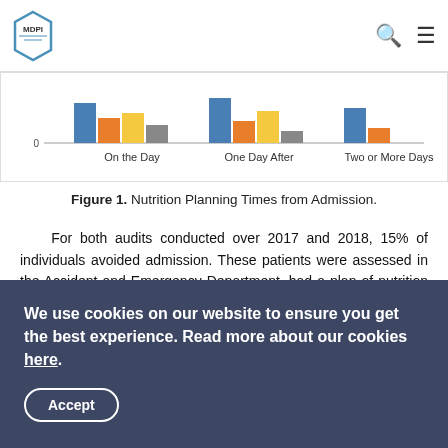MDPI
[Figure (bar-chart): Nutrition Planning Times from Admission]
Figure 1. Nutrition Planning Times from Admission.
For both audits conducted over 2017 and 2018, 15% of individuals avoided admission. These patients were assessed in the Accident and Emergency Department, had a plan of nutrition set up and were discharged back to the community with a PEACE (Proactive Elderly Advance CarE) plan [18]. The PEACE plan refers to a document outlining the person's preferences or in some cases the best interest decisions and future planning as agreed by a General Practitioner (GP) and
We use cookies on our website to ensure you get the best experience. Read more about our cookies here. Accept